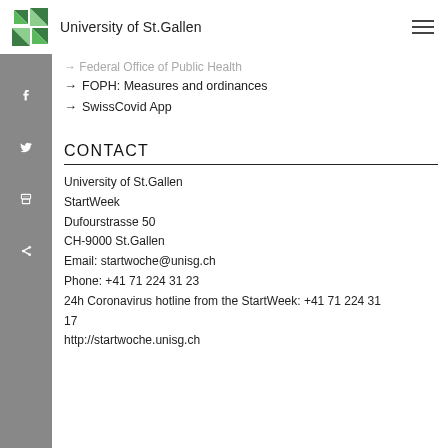University of St.Gallen
→ Federal Office of Public Health
→ FOPH: Measures and ordinances
→ SwissCovid App
CONTACT
University of St.Gallen
StartWeek
Dufourstrasse 50
CH-9000 St.Gallen
Email: startwoche@unisg.ch
Phone: +41 71 224 31 23
24h Coronavirus hotline from the StartWeek: +41 71 224 31 17
http://startwoche.unisg.ch